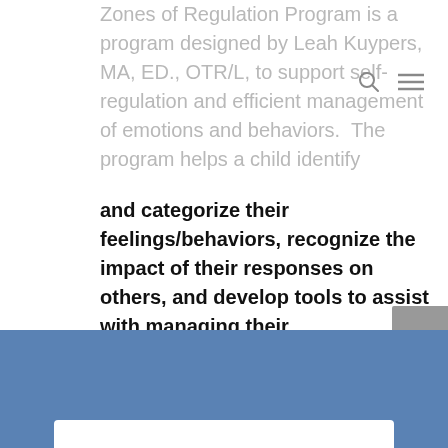Zones of Regulation Program is a program designed by Leah Kuypers, MA, ED., OTR/L, to support self-regulation and efficient management of emotions and behaviors.  The program helps a child identify and categorize their feelings/behaviors, recognize the impact of their responses on others, and develop tools to assist with managing their emotions/behaviors. It is a program often used in schools.
LEARN MORE